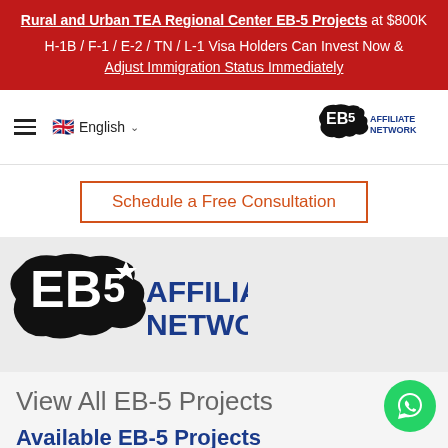Rural and Urban TEA Regional Center EB-5 Projects at $800K
H-1B / F-1 / E-2 / TN / L-1 Visa Holders Can Invest Now & Adjust Immigration Status Immediately
[Figure (logo): EB5 Affiliate Network logo small, top-right of nav bar]
English
Schedule a Free Consultation
[Figure (logo): EB5 Affiliate Network large logo with USA map silhouette]
View All EB-5 Projects
Available EB-5 Projects
[Figure (other): WhatsApp chat button, green circle with phone icon, bottom right]